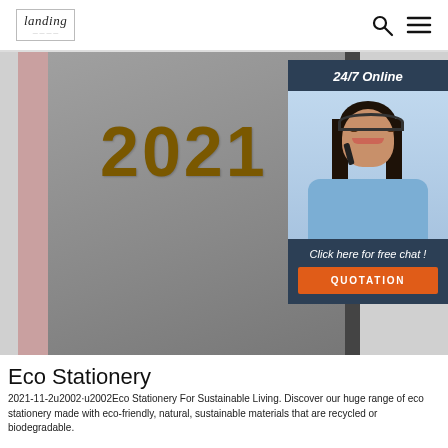Landing [logo] | Search icon | Menu icon
[Figure (photo): A 2021 diary/planner with a grey cover and gold embossed '2021' text, with pink spine, shown on a light background. Overlaid in the bottom-right corner is a dark navy blue panel showing '24/7 Online' with an image of a woman with a headset smiling, and text 'Click here for free chat!' with an orange QUOTATION button.]
Eco Stationery
2021-11-2u2002·u2002Eco Stationery For Sustainable Living. Discover our huge range of eco stationery made with eco-friendly, natural, sustainable materials that are recycled or biodegradable.